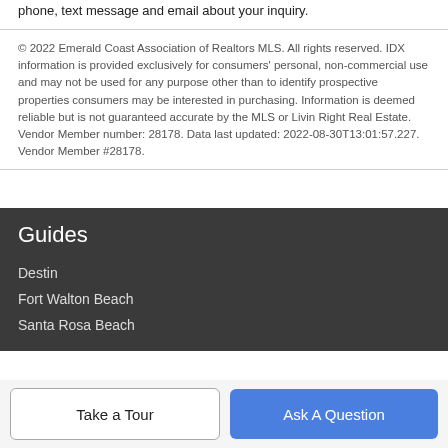phone, text message and email about your inquiry.
© 2022 Emerald Coast Association of Realtors MLS. All rights reserved. IDX information is provided exclusively for consumers' personal, non-commercial use and may not be used for any purpose other than to identify prospective properties consumers may be interested in purchasing. Information is deemed reliable but is not guaranteed accurate by the MLS or Livin Right Real Estate. Vendor Member number: 28178. Data last updated: 2022-08-30T13:01:57.227. Vendor Member #28178.
Guides
Destin
Fort Walton Beach
Santa Rosa Beach
Take a Tour
Ask A Question